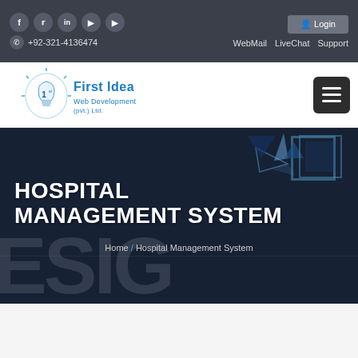Social icons: f, Twitter, in, Pinterest, YouTube | +92-321-4136474 | Login | WebMail | LiveChat | Support
[Figure (logo): First Idea Web Development (pvt.) Ltd. logo with lightbulb and '1st' branding in blue gradient text]
HOSPITAL MANAGEMENT SYSTEM
Home / Hospital Management System